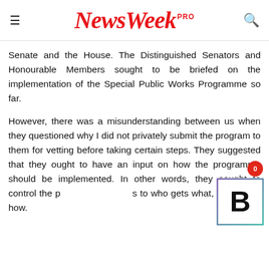NewsWeek PRO
Senate and the House. The Distinguished Senators and Honourable Members sought to be briefed on the implementation of the Special Public Works Programme so far.
However, there was a misunderstanding between us when they questioned why I did not privately submit the program to them for vetting before taking certain steps. They suggested that they ought to have an input on how the programme should be implemented. In other words, they sought to control the p...s to who gets what, where and how.
However, I insisted that I could not surre... programme to their control since their powers under the constitution does not extend to that. They insisted